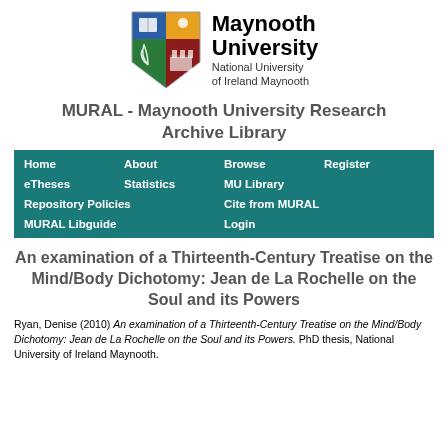[Figure (logo): Maynooth University shield logo with four quadrants: blue book, gold candle/sun, green fern/branch, red castle tower. Next to it: 'Maynooth University / National University of Ireland Maynooth']
MURAL - Maynooth University Research Archive Library
Home | About | Browse | Register | eTheses | Statistics | MU Library | Repository Policies | Cite from MURAL | MURAL Libguide | Login
An examination of a Thirteenth-Century Treatise on the Mind/Body Dichotomy: Jean de La Rochelle on the Soul and its Powers
Ryan, Denise (2010) An examination of a Thirteenth-Century Treatise on the Mind/Body Dichotomy: Jean de La Rochelle on the Soul and its Powers. PhD thesis, National University of Ireland Maynooth.